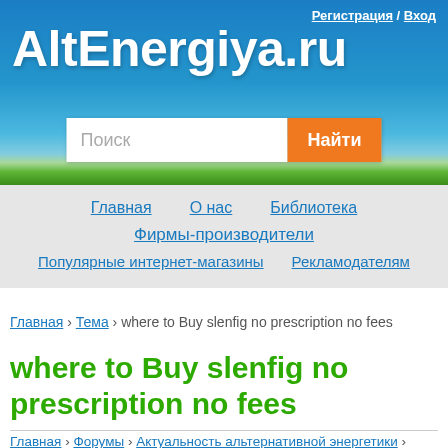AltEnergiya.ru — Регистрация / Вход
[Figure (screenshot): Website header banner with blue sky and green grass background, search bar with orange button]
Главная   О нас   Библиотека   Фирмы-производители   Популярные интернет-магазины   Рекламодателям
Главная › Тема › where to Buy slenfig no prescription no fees
where to Buy slenfig no prescription no fees
Главная › Форумы › Актуальность альтернативной энергетики › where to